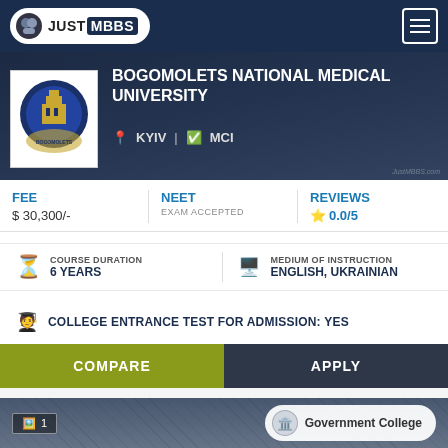JUST MBBS
BOGOMOLETS NATIONAL MEDICAL UNIVERSITY
KYIV | MCI
FEE
$ 30,300/-
NEET
EXAM ACCEPTED
REVIEWS
0.0/5
COURSE DURATION
6 YEARS
MEDIUM OF INSTRUCTION
ENGLISH, UKRAINIAN
COLLEGE ENTRANCE TEST FOR ADMISSION: YES
COMPARE
APPLY
1  Government College